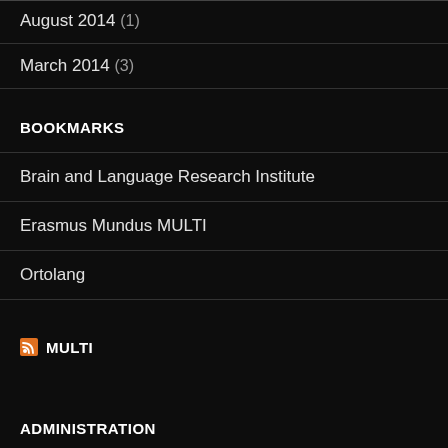August 2014 (1)
March 2014 (3)
BOOKMARKS
Brain and Language Research Institute
Erasmus Mundus MULTI
Ortolang
MULTI
ADMINISTRATION